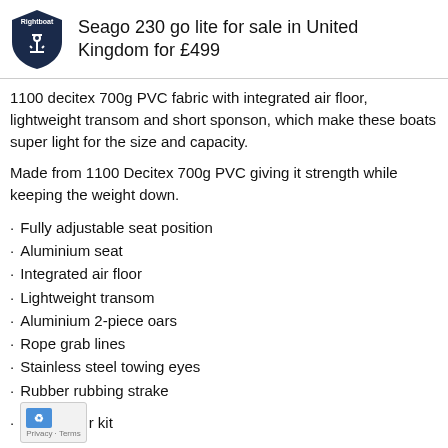Seago 230 go lite for sale in United Kingdom for £499
1100 decitex 700g PVC fabric with integrated air floor, lightweight transom and short sponson, which make these boats super light for the size and capacity.
Made from 1100 Decitex 700g PVC giving it strength while keeping the weight down.
Fully adjustable seat position
Aluminium seat
Integrated air floor
Lightweight transom
Aluminium 2-piece oars
Rope grab lines
Stainless steel towing eyes
Rubber rubbing strake
r kit
Foot pump
Carry bag also a back pack